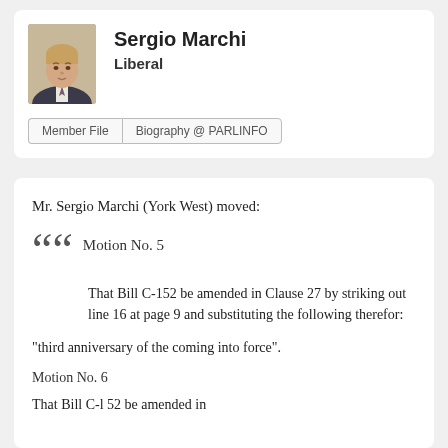[Figure (photo): Portrait photo of Sergio Marchi, a man in a suit and tie]
Sergio Marchi
Liberal
Member File | Biography @ PARLINFO
Mr. Sergio Marchi (York West) moved:
Motion No. 5
That Bill C-152 be amended in Clause 27 by striking out line 16 at page 9 and substituting the following therefor:
"third anniversary of the coming into force".
Motion No. 6
That Bill C-l 52 be amended in